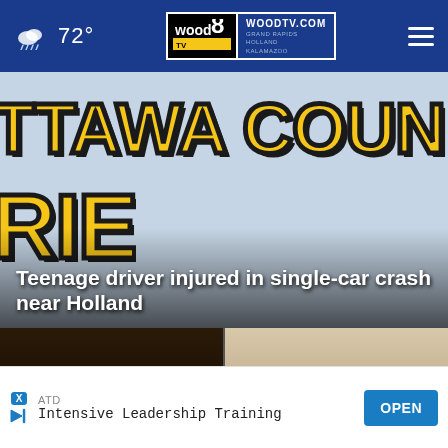72° WOODTV.COM GRAND RAPIDS HOLLAND KALAMAZOO
[Figure (photo): Ottawa County sheriff vehicle closeup showing 'OTTAWA COUN' and partial lettering in gold/black text on white vehicle]
Teenage driver injured in single-car crash near Holland
[Figure (screenshot): Two video thumbnail previews with play buttons side by side]
ATD Intensive Leadership Training OPEN